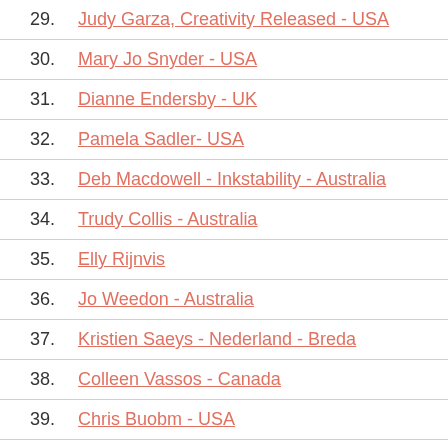29. Judy Garza, Creativity Released - USA
30. Mary Jo Snyder - USA
31. Dianne Endersby - UK
32. Pamela Sadler- USA
33. Deb Macdowell - Inkstability - Australia
34. Trudy Collis - Australia
35. Elly Rijnvis
36. Jo Weedon - Australia
37. Kristien Saeys - Nederland - Breda
38. Colleen Vassos - Canada
39. Chris Buobm - USA
40. Jessie Holton - Australia